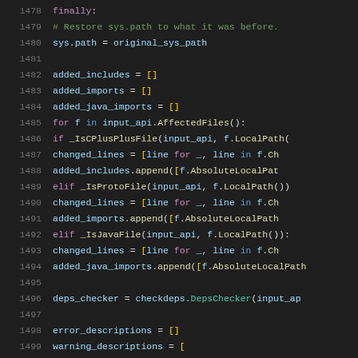Code listing lines 1478-1499, Python source code showing file processing logic with finally block, sys.path restoration, and file type checking for C++, Proto, and Java files.